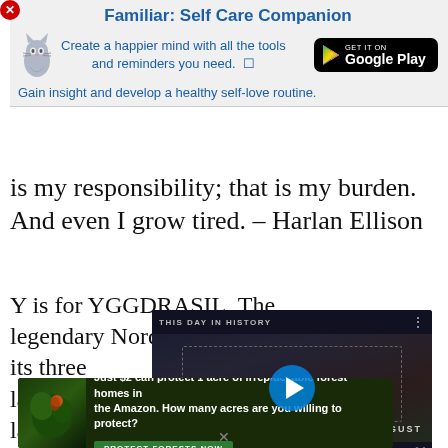[Figure (screenshot): Close button (red X circle) in top-left corner]
[Figure (screenshot): Familiar: Self Care Companion app advertisement banner with cat icon and Google Play button. Title: 'Familiar: Self Care Companion'. Subtitle: 'Create a happier mind with all the tools and reminders you need.' Tagline: 'Gain insight and develop a healthy self-love routine.']
is my responsibility; that is my burden. And even I grow tired. – Harlan Ellison
Y is for YGGDRASIL. The legendary Nordic ash tree with its three lands of mortals, g... land of mist, grow... it that when the tr... fall. Next Wednesd...
[Figure (screenshot): Video player overlay showing 'THIS DAY IN HISTORY' with play button, AUGUST label, mute button, progress bar, and fullscreen icon]
[Figure (screenshot): Forest conservation ad: 'Just $2 can protect 1 acre of irreplaceable forest homes in the Amazon. How many acres are you willing to protect?' with PROTECT FORESTS NOW button]